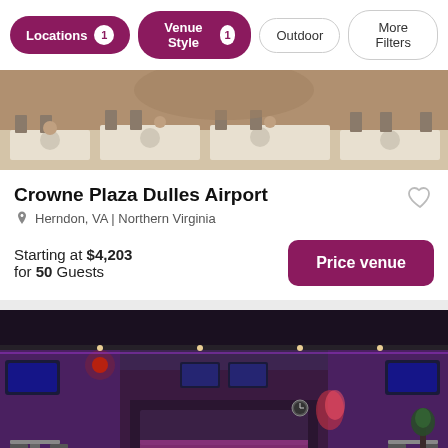Locations 1 | Venue Style 1 | Outdoor | More Filters
[Figure (photo): Interior of a banquet/event venue with tables set with white tablecloths, plates, chairs, and floral arrangements]
Crowne Plaza Dulles Airport
Herndon, VA | Northern Virginia
Starting at $4,203 for 50 Guests
Price venue
[Figure (photo): Interior of an entertainment venue/bowling alley with purple lighting, multiple TV screens, tables and chairs, and a bar area in the background]